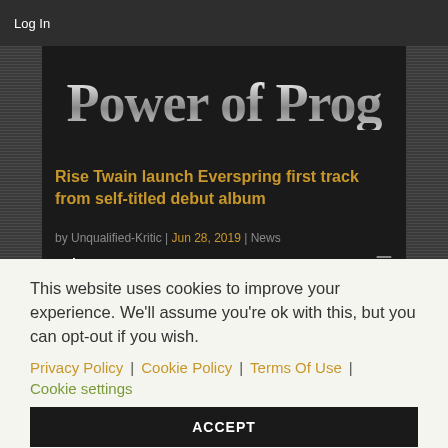Log In
[Figure (screenshot): Power of Prog website logo with metallic silver text on dark background]
Rise Twain launch Everspring first track from self-titled debut album
by Unqualified-Kritic | Jun 28, 2019 | News
Select Page
[Figure (photo): Gray stone or marble textured banner image]
This website uses cookies to improve your experience. We'll assume you're ok with this, but you can opt-out if you wish.
Privacy Policy | Cookie Policy | Terms Of Use | Cookie settings ACCEPT